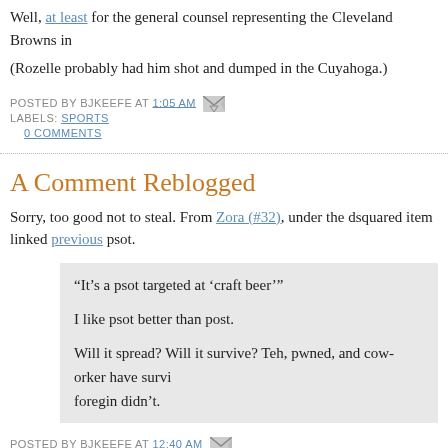Well, at least for the general counsel representing the Cleveland Browns in
(Rozelle probably had him shot and dumped in the Cuyahoga.)
POSTED BY BJKEEFE AT 1:05 AM
LABELS: SPORTS
0 COMMENTS
A Comment Reblogged
Sorry, too good not to steal. From Zora (#32), under the dsquared item linked previous psot.
“It’s a psot targeted at ‘craft beer’”

I like psot better than post.

Will it spread? Will it survive? Teh, pwned, and cow-orker have survi... foregin didn’t.
POSTED BY BJKEEFE AT 12:40 AM
LABELS: OPW, WORDPLAY